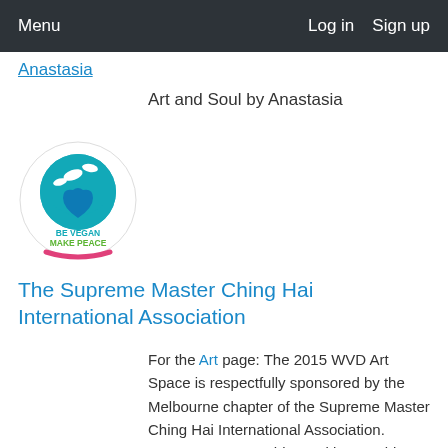Menu   Log in   Sign up
Anastasia
Art and Soul by Anastasia
[Figure (logo): Circular logo with globe and doves, text 'BE VEGAN MAKE PEACE' in teal and green, pink arc at bottom]
The Supreme Master Ching Hai International Association
For the Art page: The 2015 WVD Art Space is respectfully sponsored by the Melbourne chapter of the Supreme Master Ching Hai International Association. Supreme Master Ching Hai is a world-renowned spiritual